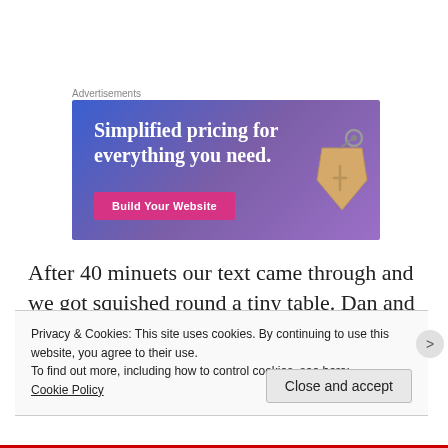Advertisements
[Figure (illustration): Advertisement banner with gradient blue-purple background showing text 'Simplified pricing for everything you need.' with a pink 'Build Your Website' button and a price tag graphic on the right.]
After 40 minuets our text came through and we got squished round a tiny table. Dan and I were
Privacy & Cookies: This site uses cookies. By continuing to use this website, you agree to their use.
To find out more, including how to control cookies, see here:
Cookie Policy
Close and accept